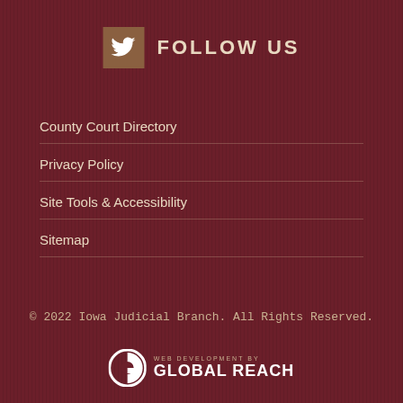[Figure (logo): Twitter bird icon in a tan/brown square box followed by 'FOLLOW US' text in bold caps]
County Court Directory
Privacy Policy
Site Tools & Accessibility
Sitemap
© 2022 Iowa Judicial Branch. All Rights Reserved.
[Figure (logo): Global Reach logo: stylized G icon with 'WEB DEVELOPMENT BY' in small caps above 'GLOBAL REACH' in bold white text]